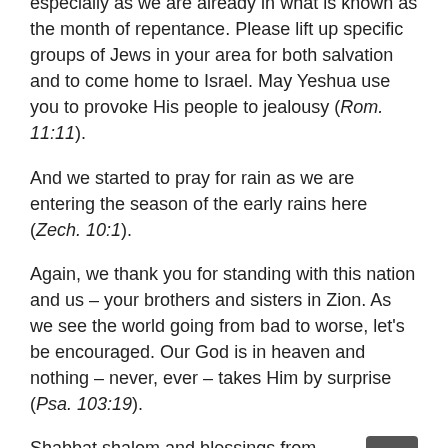especially as we are already in what is known as the month of repentance. Please lift up specific groups of Jews in your area for both salvation and to come home to Israel. May Yeshua use you to provoke His people to jealousy (Rom. 11:11).
And we started to pray for rain as we are entering the season of the early rains here (Zech. 10:1).
Again, we thank you for standing with this nation and us – your brothers and sisters in Zion. As we see the world going from bad to worse, let's be encouraged. Our God is in heaven and nothing – never, ever – takes Him by surprise (Psa. 103:19).
Shabbat shalom and blessings from Zion
The IFI team